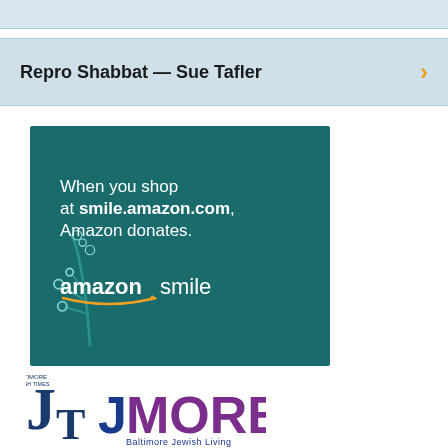Repro Shabbat — Sue Tafler
[Figure (infographic): Amazon Smile advertisement on teal background: 'When you shop at smile.amazon.com, Amazon donates.' with Amazon Smile logo and decorative branch illustration]
[Figure (logo): Baltimore Jewish Times (JT) and JMORE Baltimore Jewish Living logos side by side]